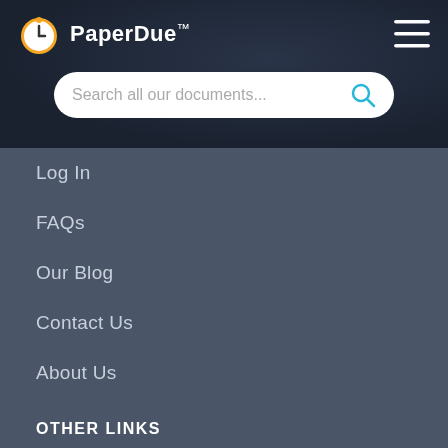PaperDue™
Search all our documents...
Log In
FAQs
Our Blog
Contact Us
About Us
OTHER LINKS
Sitemap
Privacy Policy